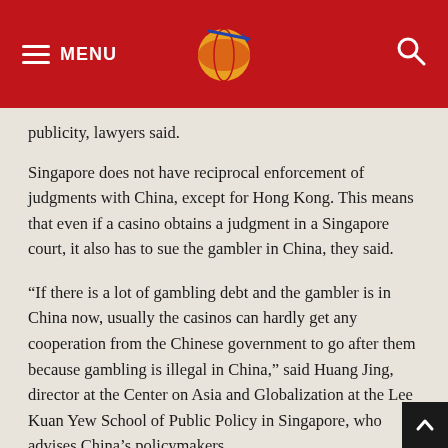MENU [logo] [search]
publicity, lawyers said.
Singapore does not have reciprocal enforcement of judgments with China, except for Hong Kong. This means that even if a casino obtains a judgment in a Singapore court, it also has to sue the gambler in China, they said.
“If there is a lot of gambling debt and the gambler is in China now, usually the casinos can hardly get any cooperation from the Chinese government to go after them because gambling is illegal in China,” said Huang Jing, director at the Center on Asia and Globalization at the Lee Kuan Yew School of Public Policy in Singapore, who advises China’s policymakers.